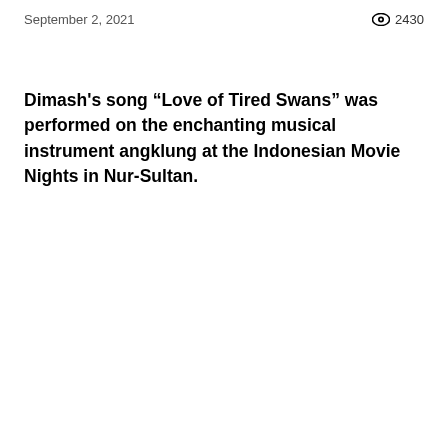September 2, 2021   👁 2430
Dimash's song “Love of Tired Swans” was performed on the enchanting musical instrument angklung at the Indonesian Movie Nights in Nur-Sultan.